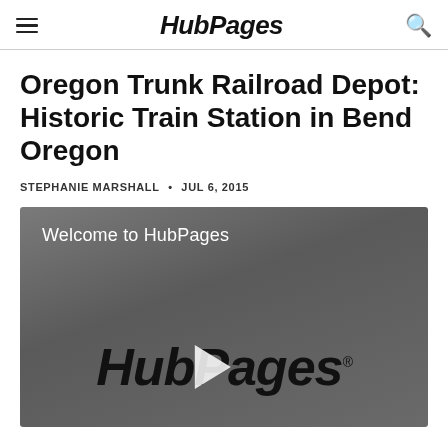HubPages
Oregon Trunk Railroad Depot: Historic Train Station in Bend Oregon
STEPHANIE MARSHALL • JUL 6, 2015
[Figure (screenshot): Video thumbnail showing 'Welcome to HubPages' text and HubPages logo with play button on a dark grey background]